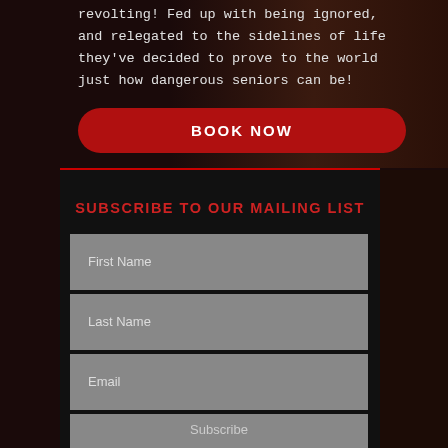revolting! Fed up with being ignored, and relegated to the sidelines of life they've decided to prove to the world just how dangerous seniors can be!
BOOK NOW
SUBSCRIBE TO OUR MAILING LIST
First Name
Last Name
Email
Subscribe